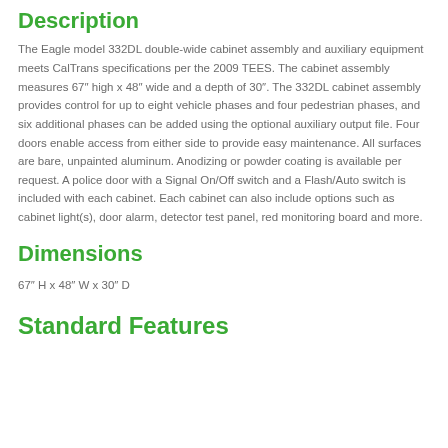Description
The Eagle model 332DL double-wide cabinet assembly and auxiliary equipment meets CalTrans specifications per the 2009 TEES. The cabinet assembly measures 67" high x 48" wide and a depth of 30". The 332DL cabinet assembly provides control for up to eight vehicle phases and four pedestrian phases, and six additional phases can be added using the optional auxiliary output file. Four doors enable access from either side to provide easy maintenance. All surfaces are bare, unpainted aluminum. Anodizing or powder coating is available per request. A police door with a Signal On/Off switch and a Flash/Auto switch is included with each cabinet. Each cabinet can also include options such as cabinet light(s), door alarm, detector test panel, red monitoring board and more.
Dimensions
67″ H x 48″ W x 30″ D
Standard Features